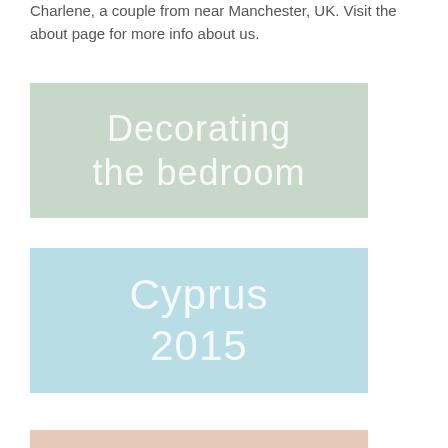Charlene, a couple from near Manchester, UK. Visit the about page for more info about us.
[Figure (illustration): Green-tinted rectangular card with large thin white text reading 'Decorating the bedroom']
[Figure (illustration): Light blue rectangular card with large thin white text reading 'Cyprus 2015']
[Figure (illustration): Partial view of a pink/salmon colored card at the bottom of the page]